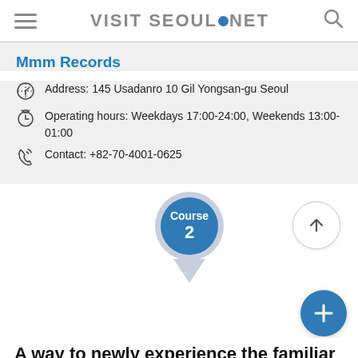VISIT SEOUL.NET
Mmm Records
Address: 145 Usadanro 10 Gil Yongsan-gu Seoul
Operating hours: Weekdays 17:00-24:00, Weekends 13:00-01:00
Contact: +82-70-4001-0625
[Figure (infographic): Map pin marker showing Course 2 label in blue circle with grey teardrop tail, with up-arrow button and plus button overlay]
A way to newly experience the familiar Han River